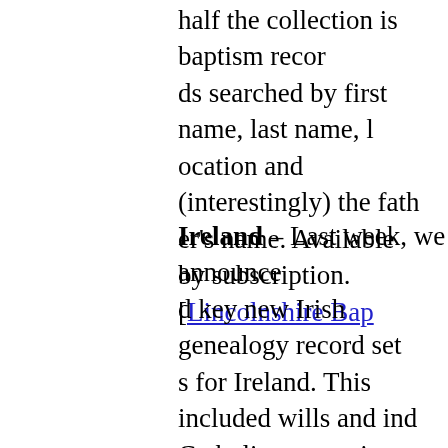half the collection is baptism records, searched by first name, last name, location and (interestingly) the father's name. Available by subscription. [Lincolnshire Baptisms]
Ireland – Last week, we announced key new Irish genealogy record sets for Ireland. This included wills and indexes, Catholic conversion rolls, shipping records (see the complete listings below). These were added to the National Archives of Ireland. [Irish Genealogy Records]
England – FindMyPast has added to their historic British newspaper collection. In this update are 14 new titles from across England including the Norfolk Herald, the Norwich Mercury and more. These newspapers served the function of local communities and contain a wealth of information including historic obituaries. This database can be searched by name, last name, keyword, date...